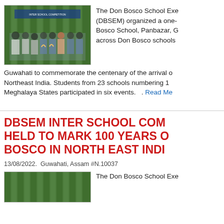[Figure (photo): Group photo of students and staff holding trophies/certificates at an event, in front of a green backdrop with banners]
The Don Bosco School Exe (DBSEM) organized a one- Bosco School, Panbazar, G across Don Bosco schools Guwahati to commemorate the centenary of the arrival of Northeast India. Students from 23 schools numbering 1 Meghalaya States participated in six events.
Read Me
DBSEM INTER SCHOOL COM HELD TO MARK 100 YEARS C BOSCO IN NORTH EAST INDI
13/08/2022.  Guwahati, Assam #N.10037
[Figure (photo): Partial photo visible at bottom, similar green backdrop event photo]
The Don Bosco School Exe